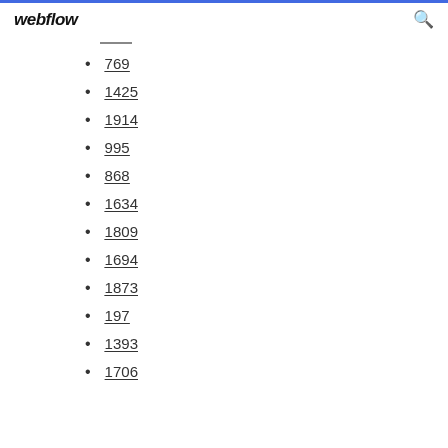webflow
769
1425
1914
995
868
1634
1809
1694
1873
197
1393
1706